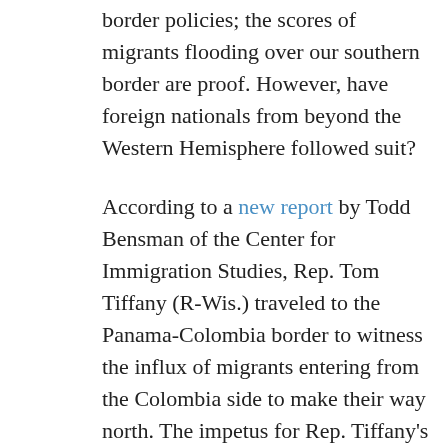border policies; the scores of migrants flooding over our southern border are proof. However, have foreign nationals from beyond the Western Hemisphere followed suit?
According to a new report by Todd Bensman of the Center for Immigration Studies, Rep. Tom Tiffany (R-Wis.) traveled to the Panama-Colombia border to witness the influx of migrants entering from the Colombia side to make their way north. The impetus for Rep. Tiffany's journey follows concerns that extra-continentals originating from terror-prone nations are traveling to the United States. Extra-continental migrants are U.S.-bound foreign nationals from non-Spanish-speaking countries or regions of the world such as Brazil, Haiti, Africa, South Asia, or the Middle